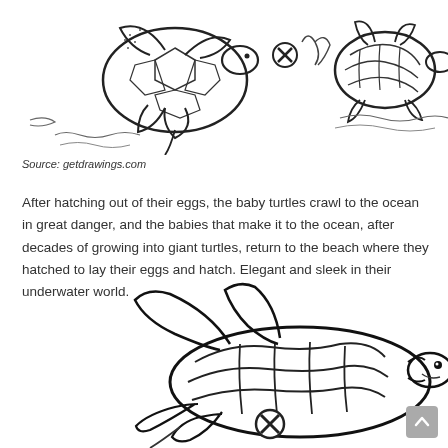[Figure (illustration): Line drawings of sea turtles at the top of the page. Two turtles shown from above/side view with shell details, flippers, and ocean elements. One has an X mark icon overlay.]
Source: getdrawings.com
After hatching out of their eggs, the baby turtles crawl to the ocean in great danger, and the babies that make it to the ocean, after decades of growing into giant turtles, return to the beach where they hatched to lay their eggs and hatch. Elegant and sleek in their underwater world.
[Figure (illustration): Large line drawing of a sea turtle viewed from the side, swimming posture, with shell segments and flippers visible. An X mark icon appears on the lower shell area.]